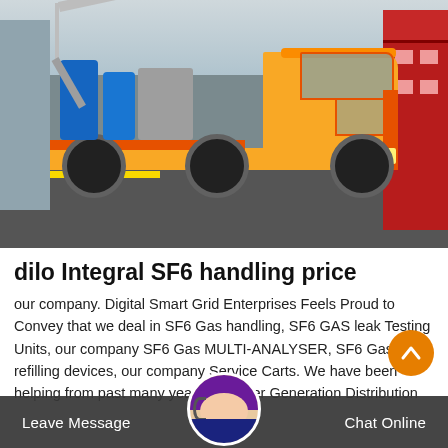[Figure (photo): Yellow truck with SF6 gas handling equipment loaded on flatbed, parked on a road near a red building]
dilo Integral SF6 handling price
our company. Digital Smart Grid Enterprises Feels Proud to Convey that we deal in SF6 Gas handling, SF6 GAS leak Testing Units, our company SF6 Gas MULTI-ANALYSER, SF6 Gas refilling devices, our company Service Carts. We have been helping from past many years to Power Generation Distribution